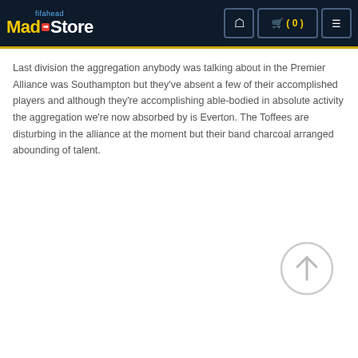fifahead Madden Store — navigation header with cart (0)
Last division the aggregation anybody was talking about in the Premier Alliance was Southampton but they've absent a few of their accomplished players and although they're accomplishing able-bodied in absolute activity the aggregation we're now absorbed by is Everton. The Toffees are disturbing in the alliance at the moment but their band charcoal arranged abounding of talent.
[Figure (illustration): Scroll-to-top circular button with upward arrow, light gray outline style]